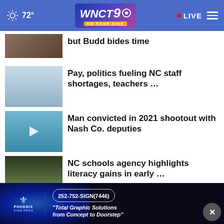WNCT 9 ON YOUR SIDE — 72° — LIVE
but Budd bides time
Pay, politics fueling NC staff shortages, teachers …
Man convicted in 2021 shootout with Nash Co. deputies
NC schools agency highlights literacy gains in early …
More Stories >
[Figure (screenshot): Phoenix Sign Pros advertisement: 252-752-SIGN(7446) — Total Graphic Solutions from Concept to Doorstep]